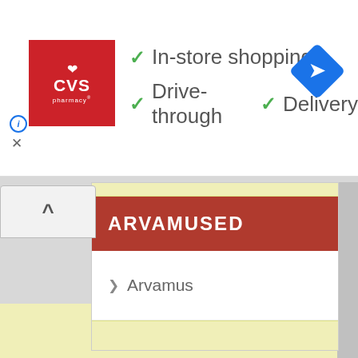[Figure (screenshot): CVS Pharmacy advertisement banner with logo, checkmarks for In-store shopping, Drive-through, Delivery, and a directions icon]
In-store shopping
Drive-through
Delivery
[Figure (screenshot): Map/navigation interface showing a sidebar panel with ARVAMUSED section header and Arvamus list item]
ARVAMUSED
Arvamus